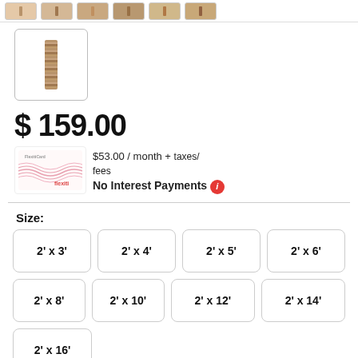[Figure (photo): Small thumbnail images of rug samples in a horizontal strip at top]
[Figure (photo): Selected rug thumbnail in a bordered box showing a narrow vertical brown/tan striped rug runner]
$ 159.00
[Figure (other): Flexiti credit card image with pink wave design and Flexiti logo]
$53.00 / month + taxes/fees
No Interest Payments
Size:
2' x 3'
2' x 4'
2' x 5'
2' x 6'
2' x 8'
2' x 10'
2' x 12'
2' x 14'
2' x 16'